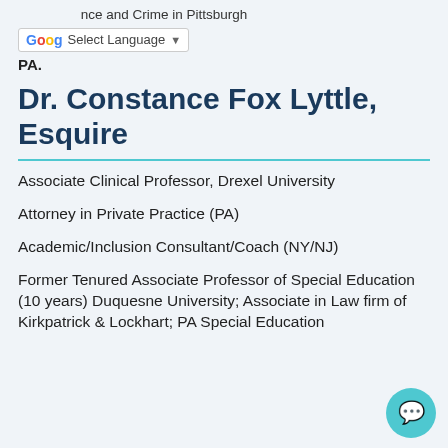nce and Crime in Pittsburgh PA.
Dr. Constance Fox Lyttle, Esquire
Associate Clinical Professor, Drexel University
Attorney in Private Practice (PA)
Academic/Inclusion Consultant/Coach (NY/NJ)
Former Tenured Associate Professor of Special Education (10 years) Duquesne University; Associate in Law firm of Kirkpatrick & Lockhart; PA Special Education